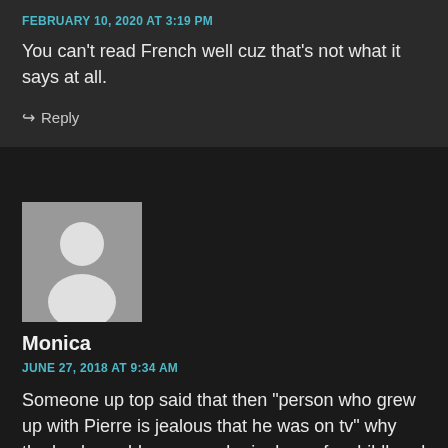FEBRUARY 10, 2020 AT 3:19 PM
You can’t read French well cuz that’s not what it says at all.
Reply
[Figure (illustration): Default user avatar placeholder with grey background showing a silhouette of a person]
Monica
JUNE 27, 2018 AT 9:34 AM
Someone up top said that then “person who grew up with Pierre is jealous that he was on tv” why the heck would someone be jealous of a childhood friend being in or on television f